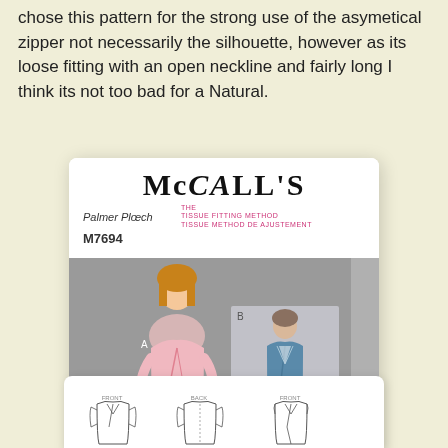chose this pattern for the strong use of the asymetical zipper not necessarily the silhouette, however as its loose fitting with an open neckline and fairly long I think its not too bad for a Natural.
[Figure (photo): McCall's sewing pattern M7694 by Melissa Watson, showing a woman in a pink jacket and a fashion illustration of a teal vest with asymmetrical zipper.]
[Figure (illustration): Sewing pattern line drawings/sketches showing garment construction views from multiple angles, partially visible at bottom of page.]